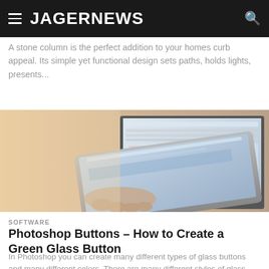JAGERNEWS
A stone column is the perfect addition to your homes curb appeal. Its simple yet functional design sets paths, holds lights, presents...
[Figure (photo): Person using a tablet device in front of a laptop computer, warm natural light setting. View count badge showing 918.]
SOFTWARE
Photoshop Buttons – How to Create a Green Glass Button
In Photoshop you can create many different types of glass buttons and many different colors. There are many different styles of glass...